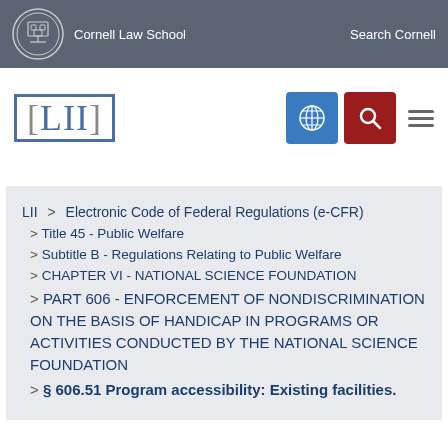Cornell Law School   Search Cornell
[Figure (logo): LII Legal Information Institute logo with navigation icons]
LII > Electronic Code of Federal Regulations (e-CFR) > Title 45 - Public Welfare > Subtitle B - Regulations Relating to Public Welfare > CHAPTER VI - NATIONAL SCIENCE FOUNDATION > PART 606 - ENFORCEMENT OF NONDISCRIMINATION ON THE BASIS OF HANDICAP IN PROGRAMS OR ACTIVITIES CONDUCTED BY THE NATIONAL SCIENCE FOUNDATION > § 606.51 Program accessibility: Existing facilities.